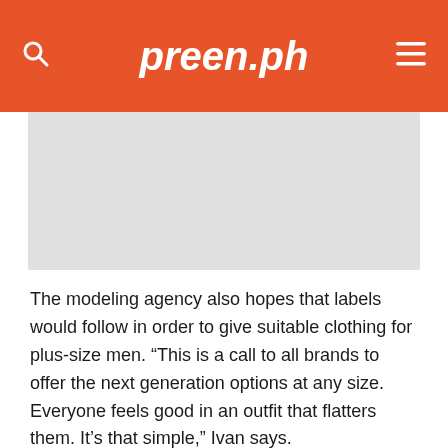preen.ph
[Figure (photo): Gray placeholder image area]
The modeling agency also hopes that labels would follow in order to give suitable clothing for plus-size men. “This is a call to all brands to offer the next generation options at any size. Everyone feels good in an outfit that flatters them. It’s that simple,” Ivan says.
With that, we’re expecting more from IMG’s Brawn roster. Who knows? Maybe we’ll plus-size male models walking